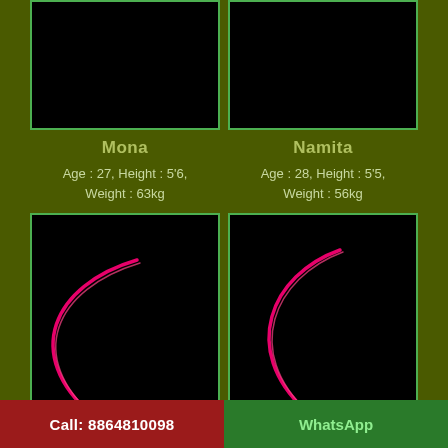[Figure (photo): Black photo box for Mona (top left)]
[Figure (photo): Black photo box for Namita (top right)]
Mona
Namita
Age : 27, Height : 5'6, Weight : 63kg
Age : 28, Height : 5'5, Weight : 56kg
[Figure (illustration): Black box with pink/red crescent arc shape for Mona (body silhouette left)]
[Figure (illustration): Black box with pink/red crescent arc shape for Namita (body silhouette right)]
Call: 8864810098
WhatsApp